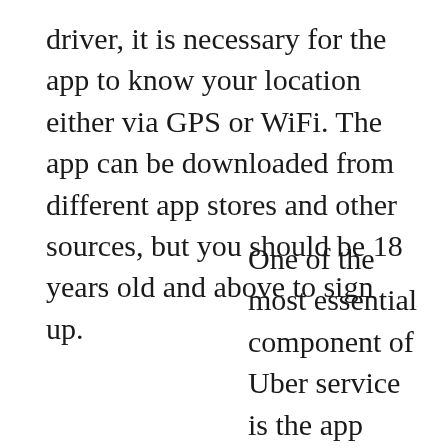driver, it is necessary for the app to know your location either via GPS or WiFi. The app can be downloaded from different app stores and other sources, but you should be 18 years old and above to sign up.
One of the most essential component of Uber service is the app itself, it is